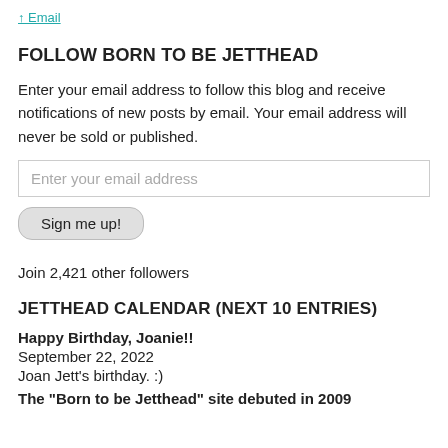↑ Email
FOLLOW BORN TO BE JETTHEAD
Enter your email address to follow this blog and receive notifications of new posts by email. Your email address will never be sold or published.
Enter your email address
Sign me up!
Join 2,421 other followers
JETTHEAD CALENDAR (NEXT 10 ENTRIES)
Happy Birthday, Joanie!!
September 22, 2022
Joan Jett's birthday. :)
The "Born to be Jetthead" site debuted in 2009